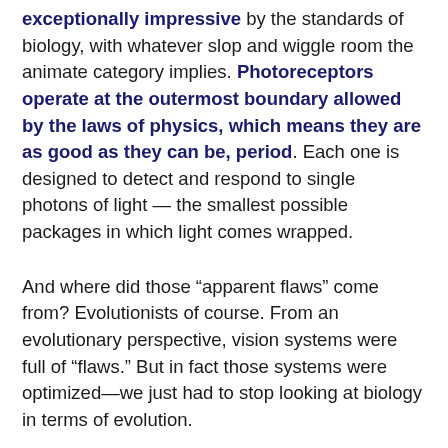exceptionally impressive by the standards of biology, with whatever slop and wiggle room the animate category implies. Photoreceptors operate at the outermost boundary allowed by the laws of physics, which means they are as good as they can be, period. Each one is designed to detect and respond to single photons of light — the smallest possible packages in which light comes wrapped.
And where did those “apparent flaws” come from? Evolutionists of course. From an evolutionary perspective, vision systems were full of “flaws.” But in fact those systems were optimized—we just had to stop looking at biology in terms of evolution.
This brings us to the protein synthesis machine—the ribosome. A paper from last month out of Johan Paulsson’s laboratory elaborates on several of the ribosome’s highly efficient, or optimal, design features. Ribosomes are comprised of both protein and RNA molecules, and their